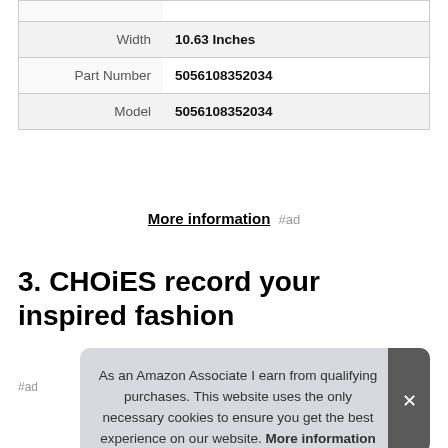| Width | 10.63 Inches |
| Part Number | 5056108352034 |
| Model | 5056108352034 |
More information #ad
3. CHOiES record your inspired fashion
#ad
As an Amazon Associate I earn from qualifying purchases. This website uses the only necessary cookies to ensure you get the best experience on our website. More information